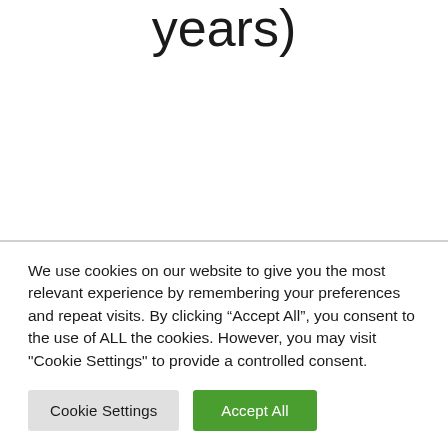years)
We use cookies on our website to give you the most relevant experience by remembering your preferences and repeat visits. By clicking “Accept All”, you consent to the use of ALL the cookies. However, you may visit "Cookie Settings" to provide a controlled consent.
Cookie Settings
Accept All